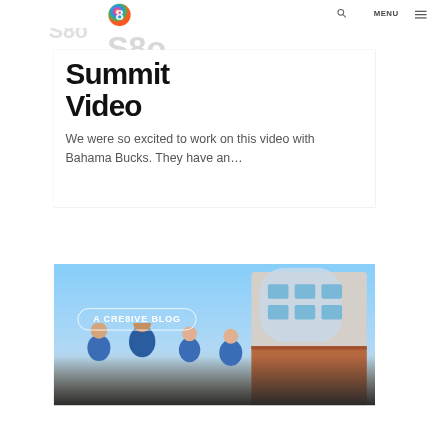Bahama Bucks // S8o Summit — MENU
Summit Video
We were so excited to work on this video with Bahama Bucks. They have an…
[Figure (photo): Photo of children in blue shirts smiling outdoors in front of a building with blue sky. Badge reads 'A CRE8IVE BLOG'.]